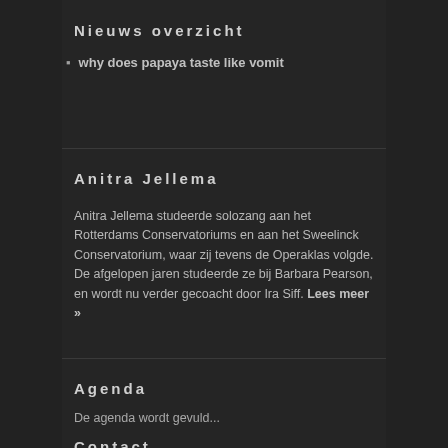Nieuws overzicht
why does papaya taste like vomit
Anitra Jellema
Anitra Jellema studeerde solozang aan het Rotterdams Conservatoriums en aan het Sweelinck Conservatorium, waar zij tevens de Operaklas volgde. De afgelopen jaren studeerde ze bij Barbara Pearson, en wordt nu verder gecoacht door Ira Siff. Lees meer »
Agenda
De agenda wordt gevuld...
Contact